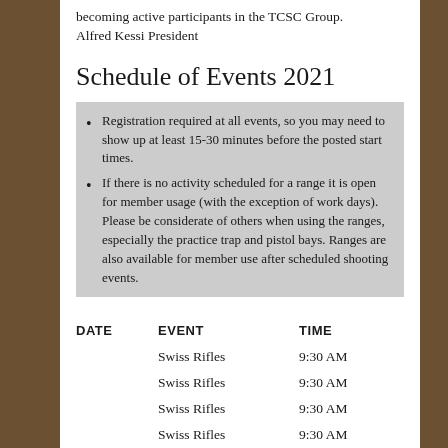becoming active participants in the TCSC Group. Alfred Kessi President
Schedule of Events 2021
Registration required at all events, so you may need to show up at least 15-30 minutes before the posted start times.
If there is no activity scheduled for a range it is open for member usage (with the exception of work days). Please be considerate of others when using the ranges, especially the practice trap and pistol bays. Ranges are also available for member use after scheduled shooting events.
| DATE | EVENT | TIME |
| --- | --- | --- |
|  | Swiss Rifles | 9:30 AM |
|  | Swiss Rifles | 9:30 AM |
|  | Swiss Rifles | 9:30 AM |
|  | Swiss Rifles | 9:30 AM |
|  | Swiss Rifles | 9:30 AM |
|  | Swiss Rifles | 9:30 AM |
|  | Swiss Rifles | 9:30 AM |
|  | Swiss Rifles | 9:30 AM |